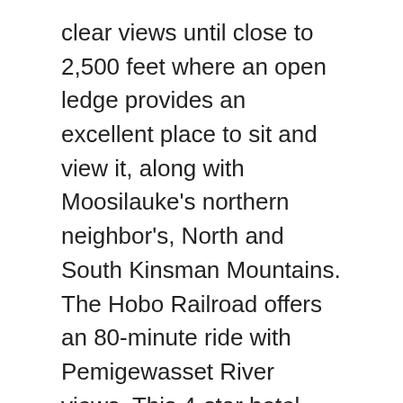clear views until close to 2,500 feet where an open ledge provides an excellent place to sit and view it, along with Moosilauke's northern neighbor's, North and South Kinsman Mountains. The Hobo Railroad offers an 80-minute ride with Pemigewasset River views. This 4-star hotel offers a full-service spa and 10 restaurants. 2010. I've started carrying my old Geko 301 GPS to use as an altimeter on bushwhacks in order avoid buying a special purpose altimeter watch – it works great. Activities Outdoor adventures with friends and family. Consider things such as access and accommodation at the base of Mount Blue (New Hampshire), as well as the logistics of climbing